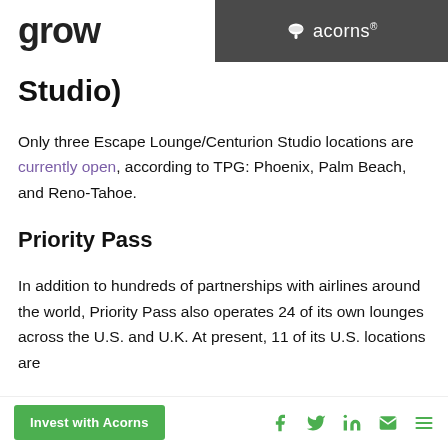grow | acorns®
Studio)
Only three Escape Lounge/Centurion Studio locations are currently open, according to TPG: Phoenix, Palm Beach, and Reno-Tahoe.
Priority Pass
In addition to hundreds of partnerships with airlines around the world, Priority Pass also operates 24 of its own lounges across the U.S. and U.K. At present, 11 of its U.S. locations are
Invest with Acorns